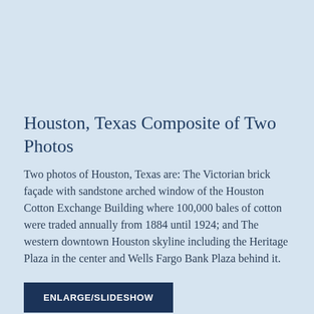Houston, Texas Composite of Two Photos
Two photos of Houston, Texas are: The Victorian brick façade with sandstone arched window of the Houston Cotton Exchange Building where 100,000 bales of cotton were traded annually from 1884 until 1924; and The western downtown Houston skyline including the Heritage Plaza in the center and Wells Fargo Bank Plaza behind it.
ENLARGE/SLIDESHOW